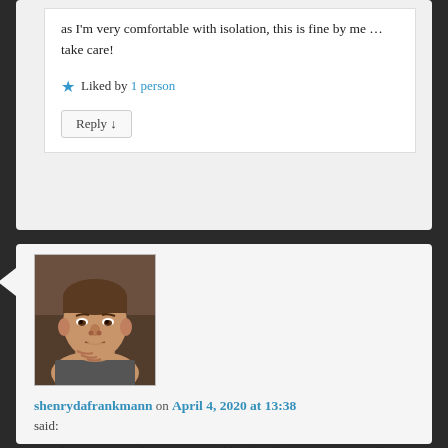as I'm very comfortable with isolation, this is fine by me ... take care!
Liked by 1 person
Reply ↓
[Figure (photo): Profile photo of shenrydafrankmann, a man with short hair resting his chin on his hand]
shenrydafrankmann on April 4, 2020 at 13:38 said:
I am living 24/7 with my 20 year old male offspring now, as well, a few months before it was supposed to happen. It's interesting and often feels like an invasion of my space, but I